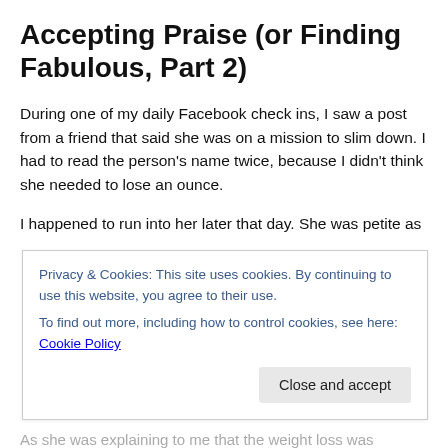Accepting Praise (or Finding Fabulous, Part 2)
During one of my daily Facebook check ins, I saw a post from a friend that said she was on a mission to slim down. I had to read the person's name twice, because I didn't think she needed to lose an ounce.
I happened to run into her later that day. She was petite as [...]
Privacy & Cookies: This site uses cookies. By continuing to use this website, you agree to their use.
To find out more, including how to control cookies, see here: Cookie Policy
As she was explaining to me that the weight loss was [...]